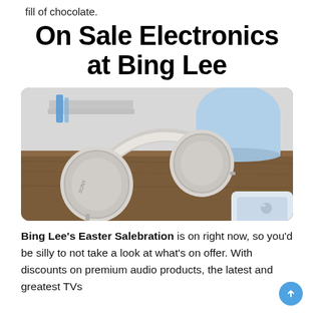fill of chocolate.
On Sale Electronics at Bing Lee
[Figure (photo): White Sony over-ear headphones resting on a wooden surface, with a light blue cup and notebook in the background, and a laptop partially visible on the right.]
Bing Lee's Easter Salebration is on right now, so you'd be silly to not take a look at what's on offer. With discounts on premium audio products, the latest and greatest TVs